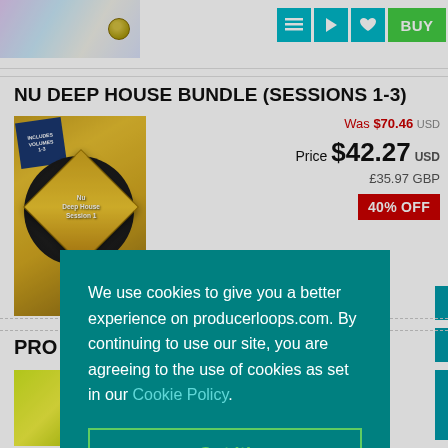[Figure (screenshot): Product thumbnail image strip with colorful gradient (pink, blue, yellow) background and small gold circle logo]
[Figure (other): Top navigation buttons: list icon, play icon, heart icon (all teal), and BUY button (green)]
NU DEEP HOUSE BUNDLE (SESSIONS 1-3)
[Figure (photo): Nu Deep House Session 1 product box art: gold/brown gradient box with diamond shape containing Nu Deep House Session 1 text, dark circular vinyl record image, blue badge top left saying INCLUDES VOLUMES 1-3]
Was $70.46 USD
Price $42.27 USD
£35.97 GBP
40% OFF
PRO
[Figure (photo): Second product image: yellow-green gradient box]
We use cookies to give you a better experience on producerloops.com. By continuing to use our site, you are agreeing to the use of cookies as set in our Cookie Policy.
Got it!